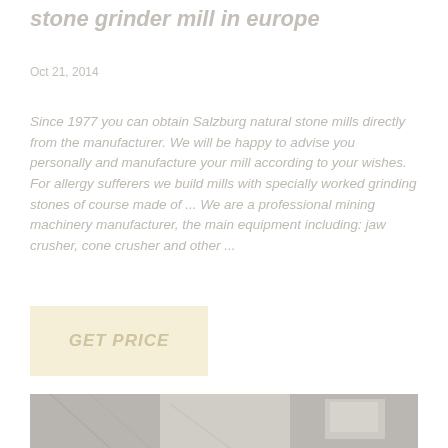stone grinder mill in europe
Oct 21, 2014
Since 1977 you can obtain Salzburg natural stone mills directly from the manufacturer. We will be happy to advise you personally and manufacture your mill according to your wishes. For allergy sufferers we build mills with specially worked grinding stones of course made of ... We are a professional mining machinery manufacturer, the main equipment including: jaw crusher, cone crusher and other ...
GET PRICE
[Figure (photo): Industrial equipment or stone grinding machinery, grayscale photograph]